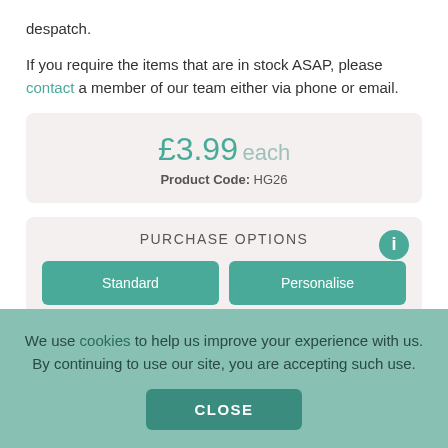despatch.
If you require the items that are in stock ASAP, please contact a member of our team either via phone or email.
£3.99 each
Product Code: HG26
PURCHASE OPTIONS
Standard
Personalise
We use cookies to help us improve your experience with us. By continuing to use our site, you are accepting such use.
CLOSE